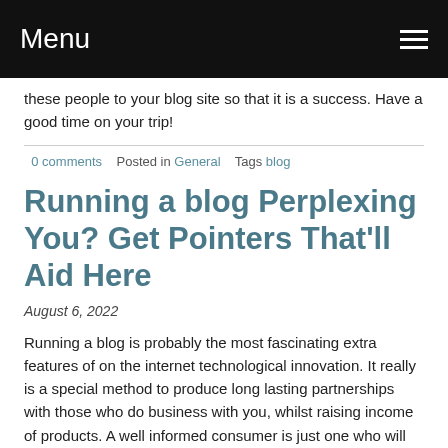Menu
these people to your blog site so that it is a success. Have a good time on your trip!
0 comments   Posted in General   Tags blog
Running a blog Perplexing You? Get Pointers That'll Aid Here
August 6, 2022
Running a blog is probably the most fascinating extra features of on the internet technological innovation. It really is a special method to produce long lasting partnerships with those who do business with you, whilst raising income of products. A well informed consumer is just one who will probably obtain, so use